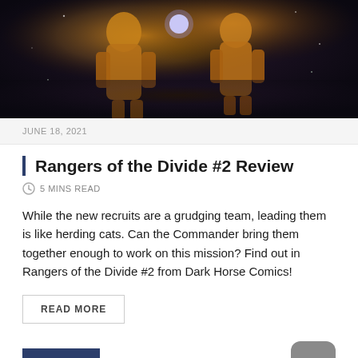[Figure (illustration): Comic book style illustration showing armored figures in orange/gold suits against a dark space background]
JUNE 18, 2021
Rangers of the Divide #2 Review
5 MINS READ
While the new recruits are a grudging team, leading them is like herding cats. Can the Commander bring them together enough to work on this mission? Find out in Rangers of the Divide #2 from Dark Horse Comics!
READ MORE
REVIEW